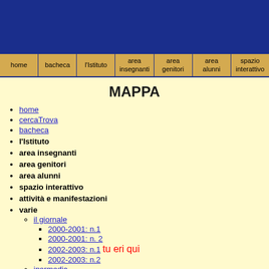[Figure (other): Blue banner header area]
home | bacheca | l'Istituto | area insegnanti | area genitori | area alunni | spazio interattivo
MAPPA
home
cercaTrova
bacheca
l'Istituto
area insegnanti
area genitori
area alunni
spazio interattivo
attività e manifestazioni
varie
il giornale
2000-2001: n.1
2000-2001: n. 2
2002-2003: n.1 tu eri qui
2002-2003: n.2
ipermedia
spazio contatti